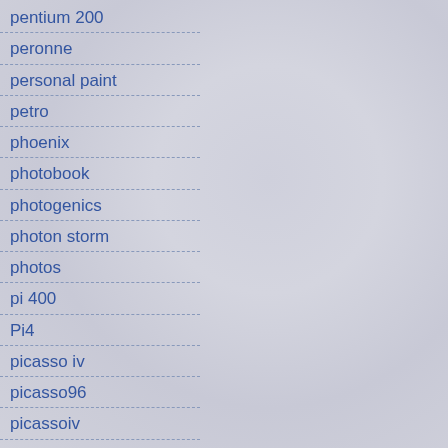pentium 200
peronne
personal paint
petro
phoenix
photobook
photogenics
photon storm
photos
pi 400
Pi4
picasso iv
picasso96
picassoiv
pig
PiMiga
pinball illusions
pine phone
pine64